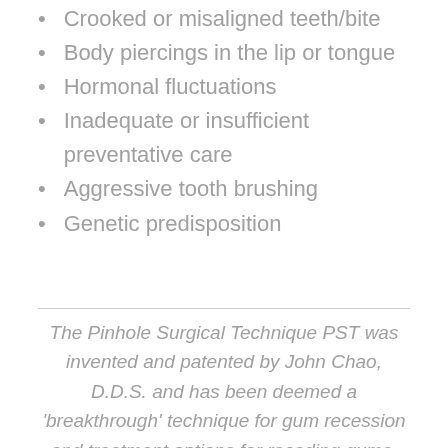Crooked or misaligned teeth/bite
Body piercings in the lip or tongue
Hormonal fluctuations
Inadequate or insufficient preventative care
Aggressive tooth brushing
Genetic predisposition
The Pinhole Surgical Technique PST was invented and patented by John Chao, D.D.S. and has been deemed a 'breakthrough' technique for gum recession and treatment options for receding gums.